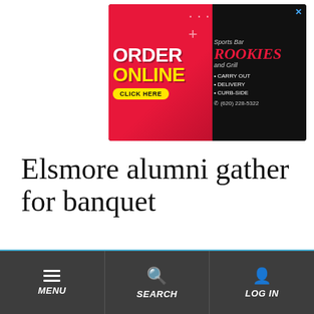[Figure (screenshot): Advertisement banner for Rookies Sports Bar and Grill. Red background on left with 'ORDER ONLINE' in yellow and white bold text, 'CLICK HERE' button. Right side shows 'Rookies Sports Bar and Grill' logo with bullet points: CARRY OUT, DELIVERY, CURB-SIDE and phone number (620) 228-5322 on black background.]
Elsmore alumni gather for banquet
Judy Wilson led a memorial service for the 38 alumni who have passed away since the last banquet in 2019.
NEWS
June 1, 2022 - 3:27 PM
MENU | SEARCH | LOG IN